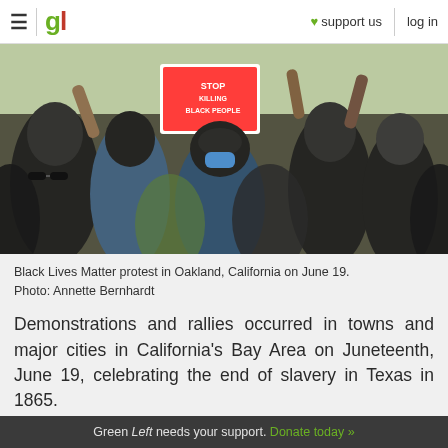≡ | gl ♥ support us | log in
[Figure (photo): Black Lives Matter protest crowd with people wearing masks and holding signs including 'Stop Killing Black People', Oakland California, June 19.]
Black Lives Matter protest in Oakland, California on June 19. Photo: Annette Bernhardt
Demonstrations and rallies occurred in towns and major cities in California's Bay Area on Juneteenth, June 19, celebrating the end of slavery in Texas in 1865.
See also
Green Left needs your support. Donate today »